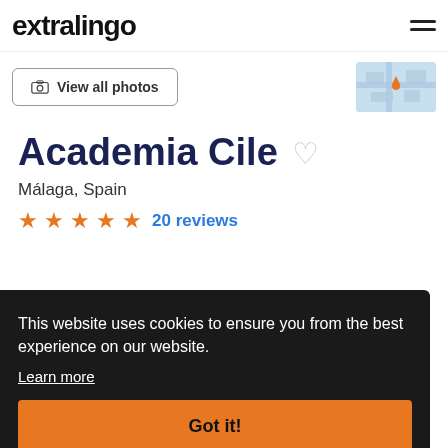extralingo
[Figure (screenshot): View all photos button with camera icon and a small map thumbnail]
Academia Cile
Málaga, Spain
★★★★½ 20 reviews
This website uses cookies to ensure you from the best experience on our website.
Learn more
e school
Got it!
is Cile language school. From this prime location you are close to the nicest bars, cafes and shops of the city and